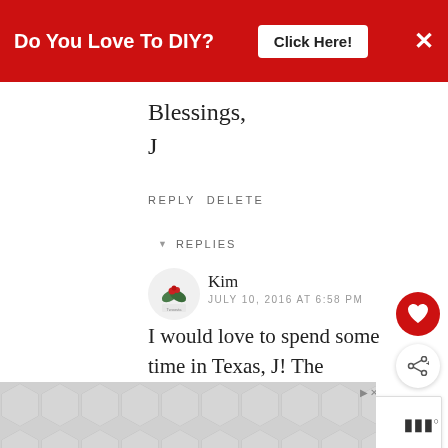Do You Love To DIY? Click Here! ×
Blessings,
J
REPLY DELETE
▾ REPLIES
Kim
JULY 10, 2016 AT 6:58 PM
I would love to spend some time in Texas, J! The winters are cold here and it is way more fun to craft in the sun! If only...
[Figure (other): Bottom advertisement banner with hexagonal tile pattern]
WHAT'S NEXT → How To Repair Damaged...